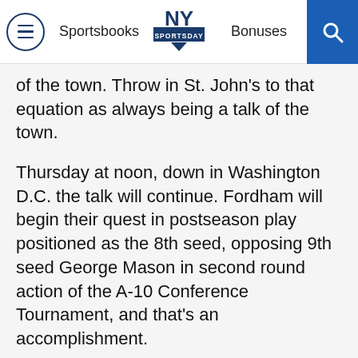NY Sportsday | Sportsbooks | Bonuses
of the town. Throw in St. John’s to that equation as always being a talk of the town.
Thursday at noon, down in Washington D.C. the talk will continue. Fordham will begin their quest in postseason play positioned as the 8th seed, opposing 9th seed George Mason in second round action of the A-10 Conference Tournament, and that’s an accomplishment.
A first round bye in the tournament has been a rarity for the Rams. They have always been positioned among the lower seeds in the 14-team tournament. But a new coach has changed a complexion of this program and